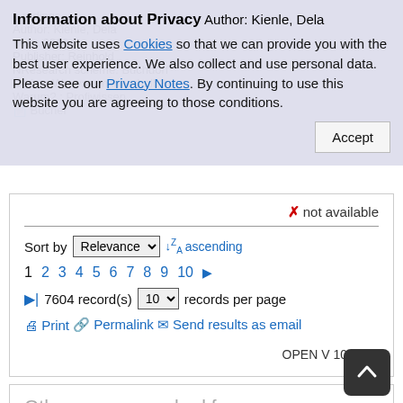[Figure (screenshot): Background blurred book detail page content partially visible behind privacy overlay]
Information about Privacy
This website uses Cookies so that we can provide you with the best user experience. We also collect and use personal data. Please see our Privacy Notes. By continuing to use this website you are agreeing to those conditions.
Accept
✗ not available
Sort by Relevance ↓ ascending
1 2 3 4 5 6 7 8 9 10 ▶
▶| 7604 record(s) 10 records per page
🖨 Print 🔗 Permalink ✉ Send results as email
OPEN V 10.1.3.0
Other users searched for: